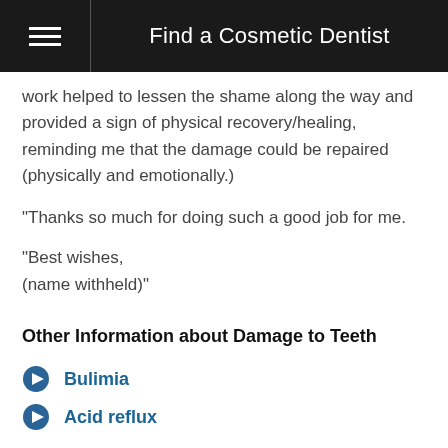Find a Cosmetic Dentist
work helped to lessen the shame along the way and provided a sign of physical recovery/healing, reminding me that the damage could be repaired (physically and emotionally.)
“Thanks so much for doing such a good job for me.
“Best wishes,
(name withheld)”
Other Information about Damage to Teeth
Bulimia
Acid reflux